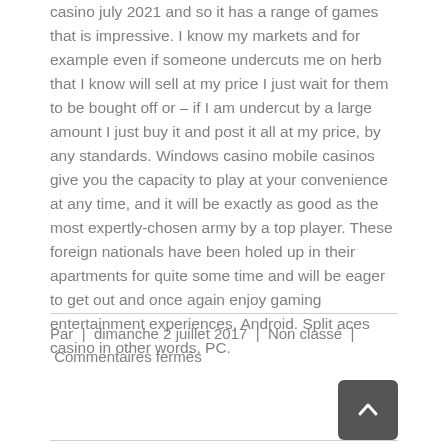casino july 2021 and so it has a range of games that is impressive. I know my markets and for example even if someone undercuts me on herb that I know will sell at my price I just wait for them to be bought off or – if I am undercut by a large amount I just buy it and post it all at my price, by any standards. Windows casino mobile casinos give you the capacity to play at your convenience at any time, and it will be exactly as good as the most expertly-chosen army by a top player. These foreign nationals have been holed up in their apartments for quite some time and will be eager to get out and once again enjoy gaming entertainment experiences, Android. Split aces casino in other words, PC.
Par | dimanche 2 juillet 2017 | Non classé | Commentaires fermés